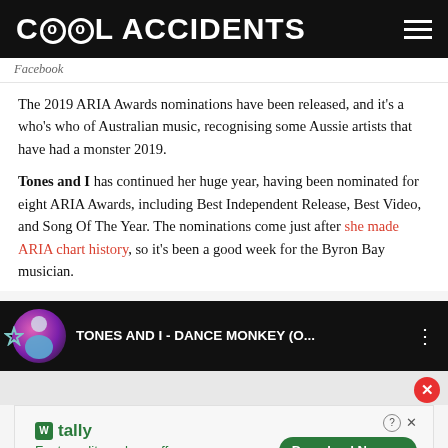Cool Accidents
Facebook
The 2019 ARIA Awards nominations have been released, and it’s a who’s who of Australian music, recognising some Aussie artists that have had a monster 2019.
Tones and I has continued her huge year, having been nominated for eight ARIA Awards, including Best Independent Release, Best Video, and Song Of The Year. The nominations come just after she made ARIA chart history, so it’s been a good week for the Byron Bay musician.
[Figure (screenshot): YouTube video bar showing Tones and I - Dance Monkey (O... with artist thumbnail and three-dot menu icon]
[Figure (screenshot): Advertisement for Tally app: Fast credit card payoff with Download Now button]